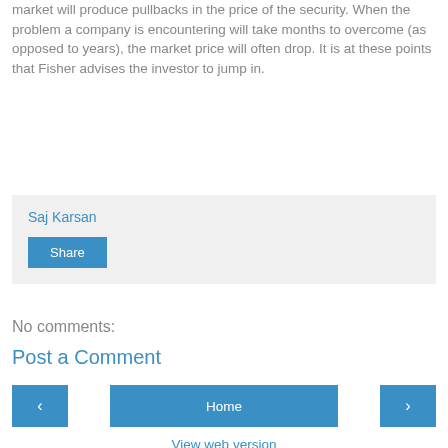market will produce pullbacks in the price of the security. When the problem a company is encountering will take months to overcome (as opposed to years), the market price will often drop. It is at these points that Fisher advises the investor to jump in.
Saj Karsan
Share
No comments:
Post a Comment
‹
Home
›
View web version
Powered by Blogger.